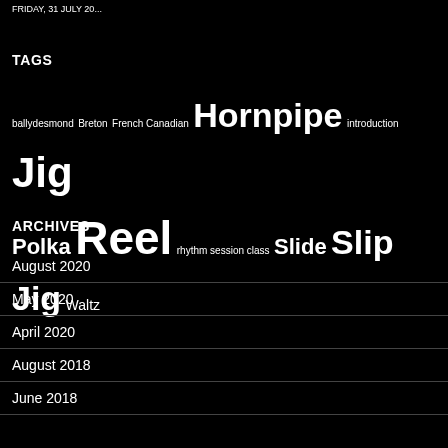FRIDAY, 31 JULY 20...
TAGS
ballydesmond Breton French Canadian Hornpipe introduction Jig Polka Reel rhythm session class Slide Slip Jig Waltz
ARCHIVES
August 2020
May 2020
April 2020
August 2018
June 2018